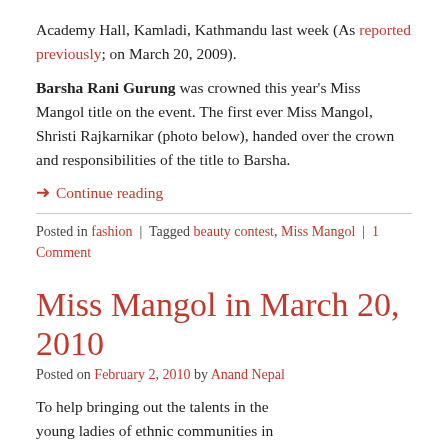Academy Hall, Kamladi, Kathmandu last week (As reported previously; on March 20, 2009).
Barsha Rani Gurung was crowned this year's Miss Mangol title on the event. The first ever Miss Mangol, Shristi Rajkarnikar (photo below), handed over the crown and responsibilities of the title to Barsha.
→ Continue reading
Posted in fashion | Tagged beauty contest, Miss Mangol | 1 Comment
Miss Mangol in March 20, 2010
Posted on February 2, 2010 by Anand Nepal
To help bringing out the talents in the young ladies of ethnic communities in Nepal, Miss Mangol will be held on March 20, 2010.